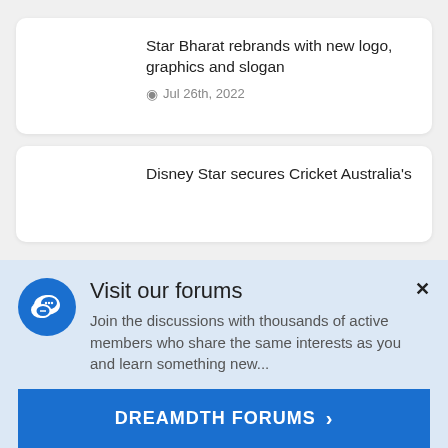Star Bharat rebrands with new logo, graphics and slogan
Jul 26th, 2022
Disney Star secures Cricket Australia's
Visit our forums
Join the discussions with thousands of active members who share the same interests as you and learn something new...
DREAMDTH FORUMS  >